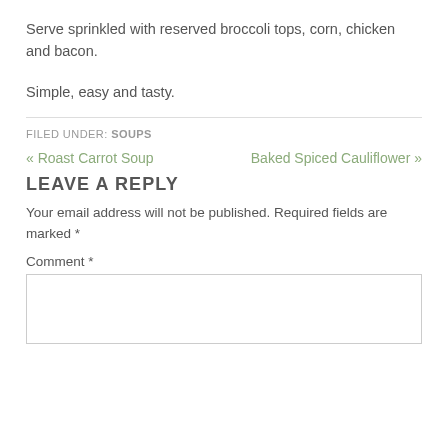Serve sprinkled with reserved broccoli tops, corn, chicken and bacon.
Simple, easy and tasty.
FILED UNDER: SOUPS
« Roast Carrot Soup    Baked Spiced Cauliflower »
LEAVE A REPLY
Your email address will not be published. Required fields are marked *
Comment *